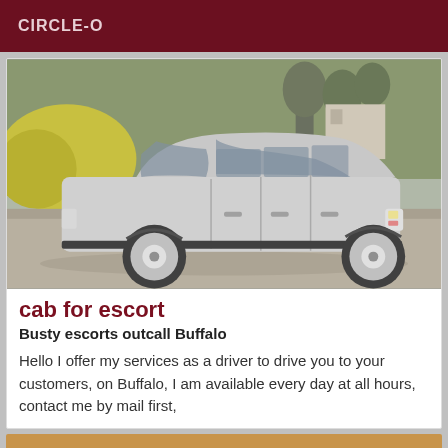CIRCLE-O
[Figure (photo): Side view of a silver Renault Scenic MPV parked on a gravel area with trees and bushes in the background.]
cab for escort
Busty escorts outcall Buffalo
Hello I offer my services as a driver to drive you to your customers, on Buffalo, I am available every day at all hours, contact me by mail first,